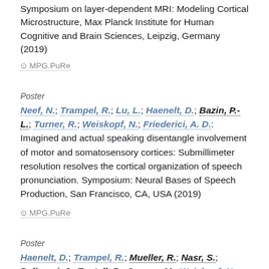Symposium on layer-dependent MRI: Modeling Cortical Microstructure, Max Planck Institute for Human Cognitive and Brain Sciences, Leipzig, Germany (2019)
⊙ MPG.PuRe
Poster
Neef, N.; Trampel, R.; Lu, L.; Haenelt, D.; Bazin, P.-L.; Turner, R.; Weiskopf, N.; Friederici, A. D.: Imagined and actual speaking disentangle involvement of motor and somatosensory cortices: Submillimeter resolution resolves the cortical organization of speech pronunciation. Symposium: Neural Bases of Speech Production, San Francisco, CA, USA (2019)
⊙ MPG.PuRe
Poster
Haenelt, D.; Trampel, R.; Mueller, R.; Nasr, S.; Polimeni, J.; Tootell, R.; Sereno, M.; Weiskopf, N.: Reliable mapping of